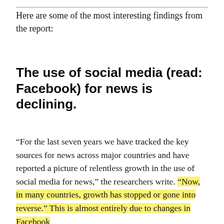Here are some of the most interesting findings from the report:
The use of social media (read: Facebook) for news is declining.
“For the last seven years we have tracked the key sources for news across major countries and have reported a picture of relentless growth in the use of social media for news,” the researchers write. “Now, in many countries, growth has stopped or gone into reverse.” This is almost entirely due to changes in Facebook